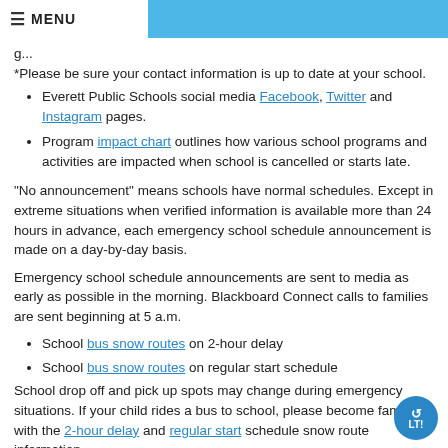MENU
*Please be sure your contact information is up to date at your school.
Everett Public Schools social media Facebook, Twitter and Instagram pages.
Program impact chart outlines how various school programs and activities are impacted when school is cancelled or starts late.
"No announcement" means schools have normal schedules. Except in extreme situations when verified information is available more than 24 hours in advance, each emergency school schedule announcement is made on a day-by-day basis.
Emergency school schedule announcements are sent to media as early as possible in the morning. Blackboard Connect calls to families are sent beginning at 5 a.m.
School bus snow routes on 2-hour delay
School bus snow routes on regular start schedule
School drop off and pick up spots may change during emergency situations. If your child rides a bus to school, please become familiar with the 2-hour delay and regular start schedule snow route information.